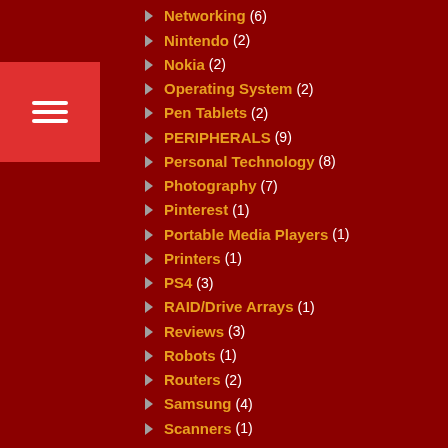[Figure (other): Hamburger menu button in red square]
Network Storage (2)
Networking (6)
Nintendo (2)
Nokia (2)
Operating System (2)
Pen Tablets (2)
PERIPHERALS (9)
Personal Technology (8)
Photography (7)
Pinterest (1)
Portable Media Players (1)
Printers (1)
PS4 (3)
RAID/Drive Arrays (1)
Reviews (3)
Robots (1)
Routers (2)
Samsung (4)
Scanners (1)